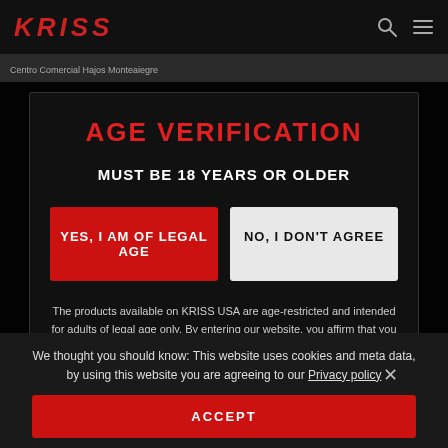KRISS
Centro Comercial Hajos Monteaiegre
AGE VERIFICATION
MUST BE 18 YEARS OR OLDER
YES, I AM OF LEGAL AGE
NO, I DON'T AGREE
The products available on KRISS USA are age-restricted and intended for adults of legal age only. By entering our website, you affirm that you are of legal age in your jurisdiction.
We thought you should know: This website uses cookies and meta data, by using this website you are agreeing to our Privacy policy
ACCEPT